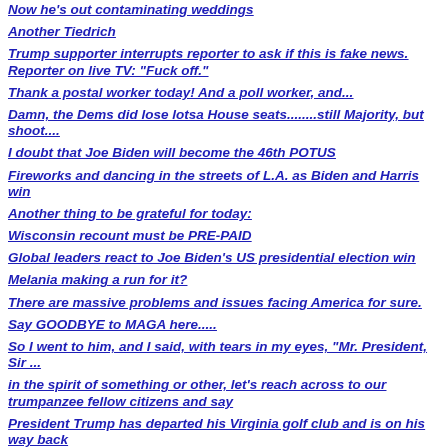Now he's out contaminating weddings
Another Tiedrich
Trump supporter interrupts reporter to ask if this is fake news. Reporter on live TV: "Fuck off."
Thank a postal worker today! And a poll worker, and...
Damn, the Dems did lose lotsa House seats........still Majority, but shoot....
I doubt that Joe Biden will become the 46th POTUS
Fireworks and dancing in the streets of L.A. as Biden and Harris win
Another thing to be grateful for today:
Wisconsin recount must be PRE-PAID
Global leaders react to Joe Biden's US presidential election win
Melania making a run for it?
There are massive problems and issues facing America for sure.
Say GOODBYE to MAGA here.....
So I went to him, and I said, with tears in my eyes, "Mr. President, Sir ...
in the spirit of something or other, let's reach across to our trumpanzee fellow citizens and say
President Trump has departed his Virginia golf club and is on his way back